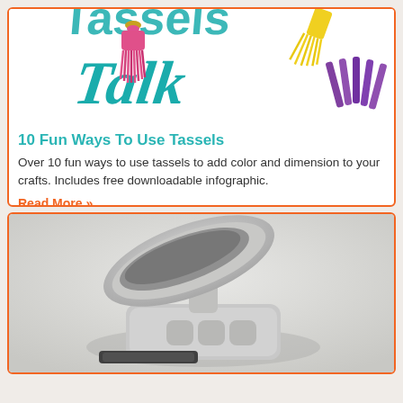[Figure (illustration): Tassels Talk logo/illustration with teal script text 'Talk', a pink tassel, yellow tassel, and purple craft sticks on white background]
10 Fun Ways To Use Tassels
Over 10 fun ways to use tassels to add color and dimension to your crafts. Includes free downloadable infographic.
Read More »
[Figure (photo): A white/grey electronic device (appears to be a Cricut cutting machine or similar craft tool) with lid open, photographed on light grey background]